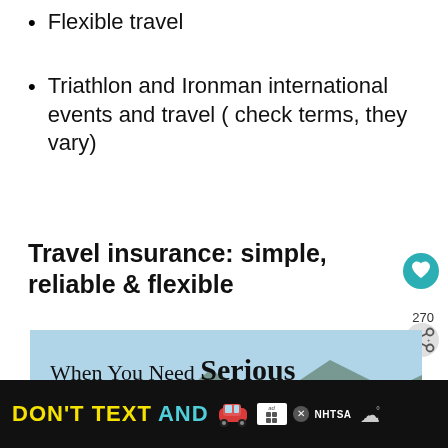Flexible travel
Triathlon and Ironman international events and travel ( check terms, they vary)
Travel insurance: simple, reliable & flexible
[Figure (screenshot): Travel insurance advertisement banner showing 'When You Need Serious Travel Insurance' text over a mountain/lake background image, with a 'What's Next' overlay showing 'Planning Family Trave...' and a circular avatar.]
[Figure (screenshot): Ad banner at bottom: dark background with yellow 'DON'T TEXT' and cyan 'AND' text, red car emoji, ad choice icon, NHTSA logo, and weather icon.]